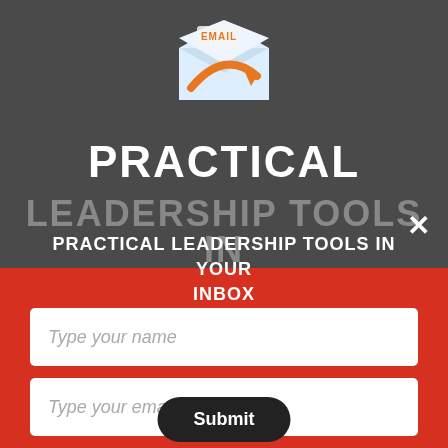[Figure (illustration): Email icon — white envelope with an orange arrow swooping out, with the word EMAIL in orange bold text on top of the envelope]
PRACTICAL
LEADERSHIP TOOLS IN
PRACTICAL LEADERSHIP TOOLS IN YOUR INBOX
Type your name
Type your email
Submit